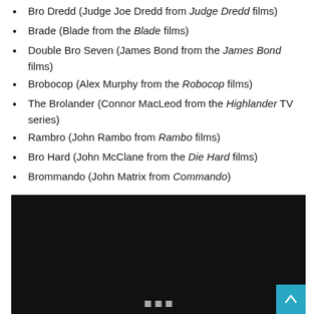Bro Dredd (Judge Joe Dredd from Judge Dredd films)
Brade (Blade from the Blade films)
Double Bro Seven (James Bond from the James Bond films)
Brobocop (Alex Murphy from the Robocop films)
The Brolander (Connor MacLeod from the Highlander TV series)
Rambro (John Rambo from Rambo films)
Bro Hard (John McClane from the Die Hard films)
Brommando (John Matrix from Commando)
[Figure (photo): Dark/black video player or image area with navigation dots at bottom and a teal scroll-to-top button in the bottom right corner]